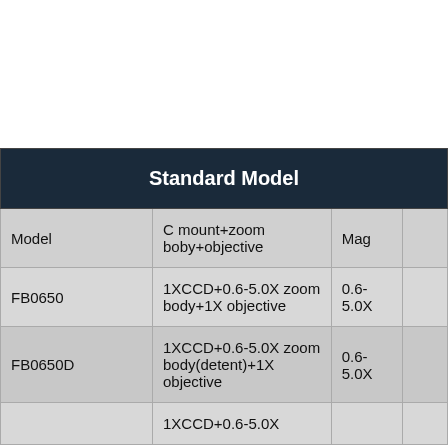| Model | C mount+zoom boby+objective | Mag |  |
| --- | --- | --- | --- |
| FB0650 | 1XCCD+0.6-5.0X zoom body+1X objective | 0.6-5.0X |  |
| FB0650D | 1XCCD+0.6-5.0X zoom body(detent)+1X objective | 0.6-5.0X |  |
|  | 1XCCD+0.6-5.0X |  |  |